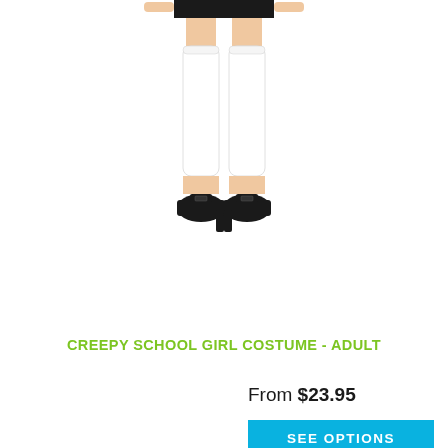[Figure (photo): Lower half of a person wearing a black mini skirt, white thigh-high socks, and black Mary Jane heels, posed against a white background — part of a creepy school girl costume product image.]
CREEPY SCHOOL GIRL COSTUME - ADULT
From $23.95
SEE OPTIONS
[Figure (photo): Two models wearing black form-fitting costumes, one facing forward and one seated slightly sideways, against a white background — product images for a Halloween costume.]